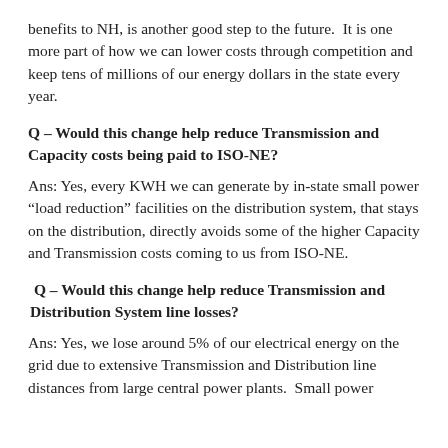benefits to NH, is another good step to the future.  It is one more part of how we can lower costs through competition and keep tens of millions of our energy dollars in the state every year.
Q – Would this change help reduce Transmission and Capacity costs being paid to ISO-NE?
Ans: Yes, every KWH we can generate by in-state small power “load reduction” facilities on the distribution system, that stays on the distribution, directly avoids some of the higher Capacity and Transmission costs coming to us from ISO-NE.
Q – Would this change help reduce Transmission and Distribution System line losses?
Ans: Yes, we lose around 5% of our electrical energy on the grid due to extensive Transmission and Distribution line distances from large central power plants.  Small power